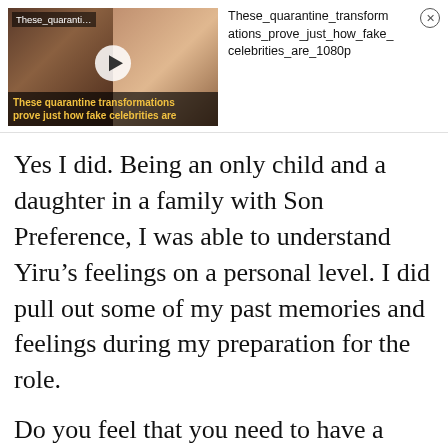[Figure (screenshot): Video thumbnail showing two faces side by side with a play button, labeled 'These_quaranti...' at top left and 'These quarantine transformations prove just how fake celebrities are' at bottom overlay in yellow text on dark background.]
These_quarantine_transformations_prove_just_how_fake_celebrities_are_1080p
Yes I did. Being an only child and a daughter in a family with Son Preference, I was able to understand Yiru’s feelings on a personal level. I did pull out some of my past memories and feelings during my preparation for the role.
Do you feel that you need to have a personal connection with the characters